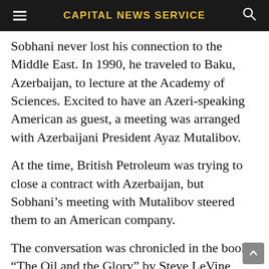CAPITAL NEWS SERVICE
Sobhani never lost his connection to the Middle East. In 1990, he traveled to Baku, Azerbaijan, to lecture at the Academy of Sciences. Excited to have an Azeri-speaking American as guest, a meeting was arranged with Azerbaijani President Ayaz Mutalibov.
At the time, British Petroleum was trying to close a contract with Azerbaijan, but Sobhani's meeting with Mutalibov steered them to an American company.
The conversation was chronicled in the book “The Oil and the Glory” by Steve LeVine,